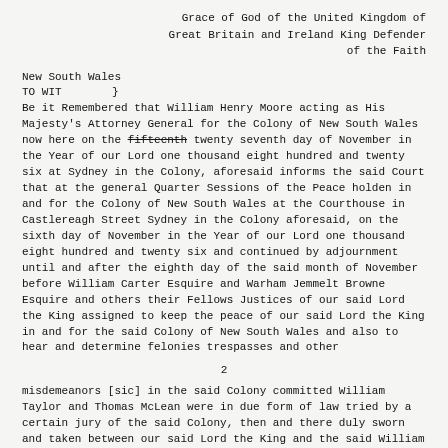Grace of God of the United Kingdom of Great Britain and Ireland King Defender of the Faith
New South Wales
TO WIT        }
Be it Remembered that William Henry Moore acting as His Majesty's Attorney General for the Colony of New South Wales now here on the fifteenth twenty seventh day of November in the Year of our Lord one thousand eight hundred and twenty six at Sydney in the Colony, aforesaid informs the said Court that at the general Quarter Sessions of the Peace holden in and for the Colony of New South Wales at the Courthouse in Castlereagh Street Sydney in the Colony aforesaid, on the sixth day of November in the Year of our Lord one thousand eight hundred and twenty six and continued by adjournment until and after the eighth day of the said month of November before William Carter Esquire and Warham Jemmelt Browne Esquire and others their Fellows Justices of our said Lord the King assigned to keep the peace of our said Lord the King in and for the said Colony of New South Wales and also to hear and determine felonies trespasses and other
2
misdemeanors [sic] in the said Colony committed William Taylor and Thomas McLean were in due form of law tried by a certain jury of the said Colony, then and there duly sworn and taken between our said Lord the King and the said William Taylor and Thomas McLean upon a certain indictment then and there defending in the said Colony against them the said William Taylor and Thomas McLean in and by which said indictment it was charged and alleged that the said William Taylor and Thomas McLean not having the fear of God before their eyes but being moved